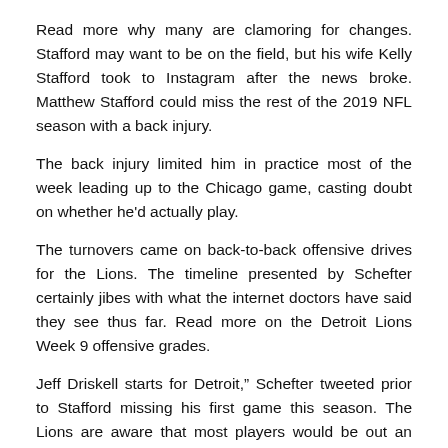Read more why many are clamoring for changes. Stafford may want to be on the field, but his wife Kelly Stafford took to Instagram after the news broke. Matthew Stafford could miss the rest of the 2019 NFL season with a back injury.
The back injury limited him in practice most of the week leading up to the Chicago game, casting doubt on whether he'd actually play.
The turnovers came on back-to-back offensive drives for the Lions. The timeline presented by Schefter certainly jibes with what the internet doctors have said they see thus far. Read more on the Detroit Lions Week 9 offensive grades.
Jeff Driskell starts for Detroit,” Schefter tweeted prior to Stafford missing his first game this season. The Lions are aware that most players would be out an extended period of time with Stafford’s injury as ESPN’s Adam Schefter detailed. Matthew Stafford injury update In the fourth quarter of the Lions’ loss to the Vikings, Stafford exited the game after a hit to the head. Read more on the Detroit Lions’ 34-20 loss to the Minnesota Vikings. Screw it. Note